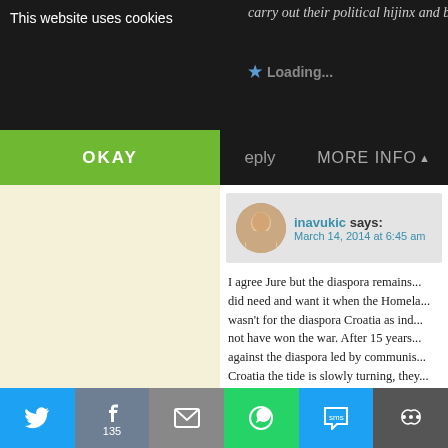carry out their political hijinx and ba...
Loading...
This website uses cookies
OKAY
eply
MORE INFO
inavukic says: March 14, 2014 at 6:45 am
I agree Jure but the diaspora remains... did need and want it when the Homeland... wasn't for the diaspora Croatia as inde... not have won the war. After 15 years... against the diaspora led by communis... Croatia the tide is slowly turning, they... connection between Croatia and diasp... established etc etc but this time arou... will have its own conditions for that a... to my thinking is a big apology from t... the office of the president. Otherwise
[Figure (screenshot): Social share bar with Twitter (135 shares), Facebook, Email, WhatsApp, SMS, and More buttons]